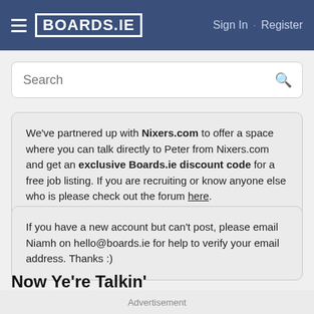BOARDS.IE  Sign In · Register
Search
We've partnered up with Nixers.com to offer a space where you can talk directly to Peter from Nixers.com and get an exclusive Boards.ie discount code for a free job listing. If you are recruiting or know anyone else who is please check out the forum here.
If you have a new account but can't post, please email Niamh on hello@boards.ie for help to verify your email address. Thanks :)
Now Ye're Talkin'
Advertisement